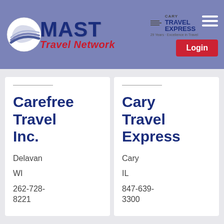[Figure (logo): MAST Travel Network logo with blue arc swoosh, dark blue MAST text, red Travel Network text, plus Cary Travel Express secondary logo and Login button on purple/periwinkle header bar]
Carefree Travel Inc.
Delavan
WI
262-728-8221
Cary Travel Express
Cary
IL
847-639-3300